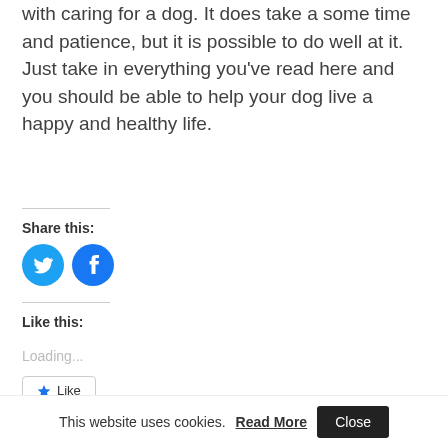with caring for a dog. It does take a some time and patience, but it is possible to do well at it. Just take in everything you've read here and you should be able to help your dog live a happy and healthy life.
Share this:
[Figure (logo): Twitter and Facebook circular icon buttons in blue]
Like this:
Loading...
Like
This website uses cookies. Read More  Close